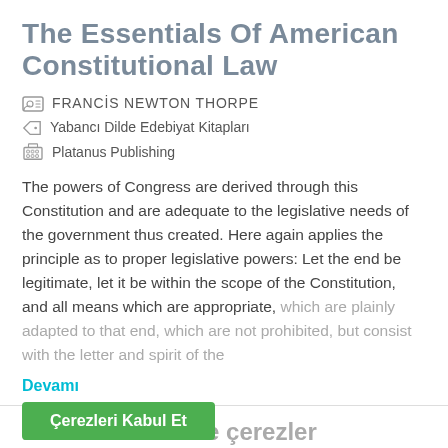The Essentials Of American Constitutional Law
FRANCIS NEWTON THORPE
Yabancı Dilde Edebiyat Kitapları
Platanus Publishing
The powers of Congress are derived through this Constitution and are adequate to the legislative needs of the government thus created. Here again applies the principle as to proper legislative powers: Let the end be legitimate, let it be within the scope of the Constitution, and all means which are appropriate, which are plainly adapted to that end, which are not prohibited, but consist with the letter and spirit of the…
Devamı
Bu web-sitesinde çerezler kullanılmaktadır
Sitemizden en iyi şekilde faydalanabilmeniz için, amaçlarla sınırlı olmak üzere çerezler kullanılmaktadır.
Çerezleri Kabul Et